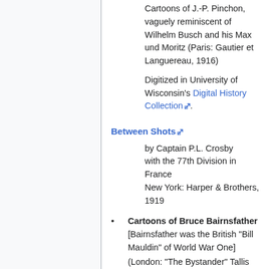Cartoons of J.-P. Pinchon, vaguely reminiscent of Wilhelm Busch and his Max und Moritz (Paris: Gautier et Languereau, 1916)
Digitized in University of Wisconsin's Digital History Collection.
Between Shots
by Captain P.L. Crosby
with the 77th Division in France
New York: Harper & Brothers, 1919
Cartoons of Bruce Bairnsfather
[Bairnsfather was the British "Bill Mauldin" of World War One]
(London: "The Bystander" Tallis House, Whitefriars, & 190, Strand,...)